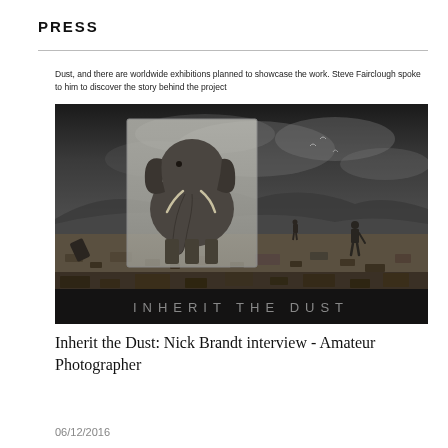PRESS
Dust, and there are worldwide exhibitions planned to showcase the work. Steve Fairclough spoke to him to discover the story behind the project
[Figure (photo): Black and white photograph titled 'INHERIT THE DUST' showing a large elephant superimposed on a rubbish dump landscape with dark stormy skies and a figure walking in the background.]
Inherit the Dust: Nick Brandt interview - Amateur Photographer
06/12/2016